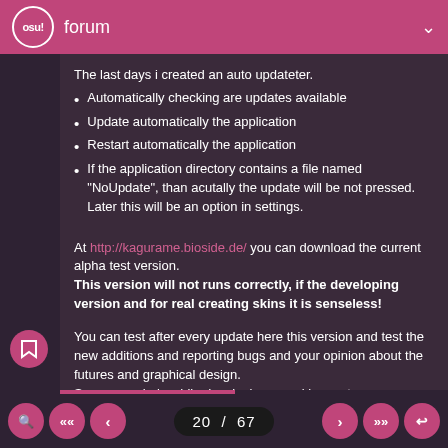osu! forum
The last days i created an auto updateter.
Automatically checking are updates available
Update automatically the application
Restart automatically the application
If the application directory contains a file named "NoUpdate", than acutally the update will be not pressed. Later this will be an option in settings.
At http://kagurame.bioside.de/ you can download the current alpha test version.
This version will not runs correctly, if the developing version and for real creating skins it is senseless!
You can test after every update here this version and test the new additions and reporting bugs and your opinion about the futures and graphical design.
So you can help while developing osu skin creator.
20 / 67